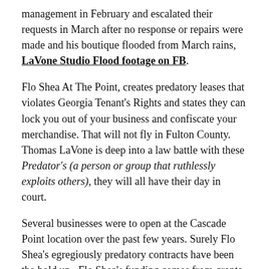management in February and escalated their requests in March after no response or repairs were made and his boutique flooded from March rains, LaVone Studio Flood footage on FB.
Flo Shea At The Point, creates predatory leases that violates Georgia Tenant's Rights and states they can lock you out of your business and confiscate your merchandise. That will not fly in Fulton County. Thomas LaVone is deep into a law battle with these Predator's (a person or group that ruthlessly exploits others), they will all have their day in court.
Several businesses were to open at the Cascade Point location over the past few years. Surely Flo Shea's egregiously predatory contracts have been the hold up.  Flo Shea's funding comes from grants provided by Invest Atlanta and other public funding. Flo Shea At The Point, has actually become a plague on the